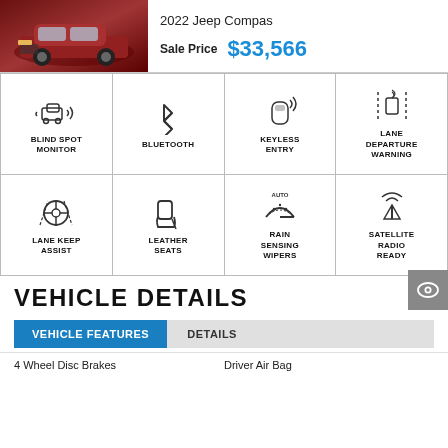[Figure (photo): Red 2022 Jeep Compass SUV vehicle photo]
2022 Jeep Compas
Sale Price $33,566
[Figure (infographic): Feature icons grid: Blind Spot Monitor, Bluetooth, Keyless Entry, Lane Departure Warning, Lane Keep Assist, Leather Seats, Rain Sensing Wipers, Satellite Radio Ready]
VEHICLE DETAILS
VEHICLE FEATURES | DETAILS
4 Wheel Disc Brakes
Driver Air Bag